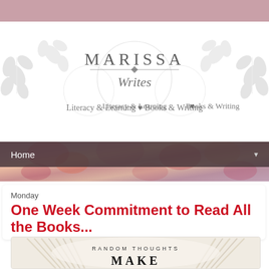[Figure (logo): Marissa Writes blog logo with decorative leaf/vine ornaments, circles, and text reading 'MARISSA Writes Literacy & Learning ♥ Books & Writing']
Home
Monday
One Week Commitment to Read All the Books...
[Figure (photo): Book folded into a fan shape with text overlay reading 'RANDOM THOUGHTS' and 'MAKE']